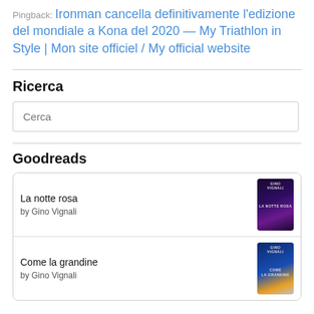Pingback: Ironman cancella definitivamente l'edizione del mondiale a Kona del 2020 — My Triathlon in Style | Mon site officiel / My official website
Ricerca
Cerca
Goodreads
La notte rosa
by Gino Vignali
Come la grandine
by Gino Vignali